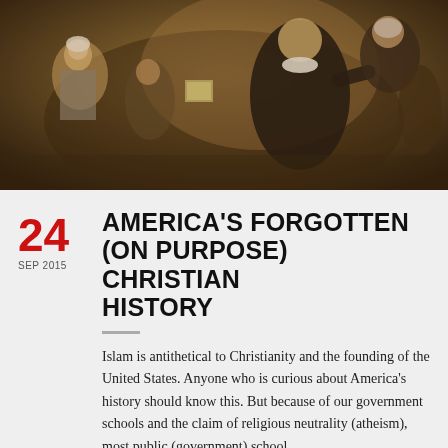[Figure (photo): Historical oil painting depicting a group of Puritan or colonial-era figures, with a preacher or clergyman in dark robes gesturing, holding a book, surrounded by men, women and children in period costume]
AMERICA'S FORGOTTEN (ON PURPOSE) CHRISTIAN HISTORY
24
SEP 2015
Islam is antithetical to Christianity and the founding of the United States. Anyone who is curious about America's history should know this. But because of our government schools and the claim of religious neutrality (atheism), most public (government) school